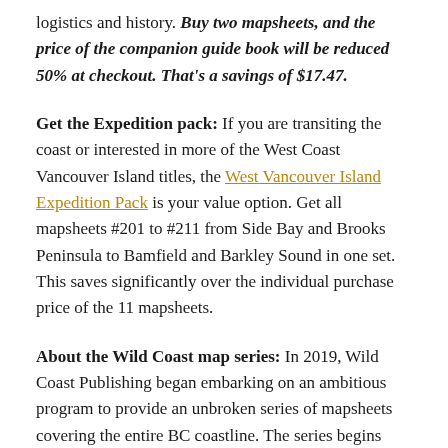logistics and history. Buy two mapsheets, and the price of the companion guide book will be reduced 50% at checkout. That's a savings of $17.47.
Get the Expedition pack: If you are transiting the coast or interested in more of the West Coast Vancouver Island titles, the West Vancouver Island Expedition Pack is your value option. Get all mapsheets #201 to #211 from Side Bay and Brooks Peninsula to Bamfield and Barkley Sound in one set. This saves significantly over the individual purchase price of the 11 mapsheets.
About the Wild Coast map series: In 2019, Wild Coast Publishing began embarking on an ambitious program to provide an unbroken series of mapsheets covering the entire BC coastline. The series begins with mapsheet #201 Brooks Peninsula and extends in order down the outer Vancouver Island and up the southern BC coast then finally north